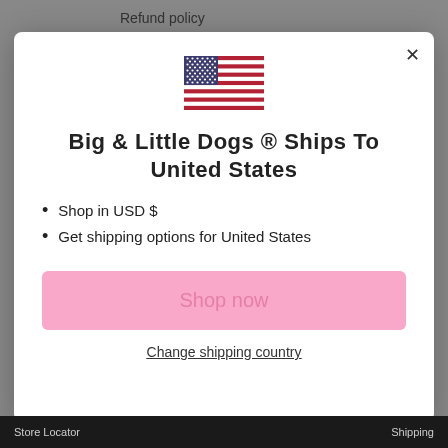Refund policy
My account
[Figure (illustration): US flag emoji SVG]
Big & Little Dogs ® ships to United States
Shop in USD $
Get shipping options for United States
Shop now
Change shipping country
Store Locator    Shipping